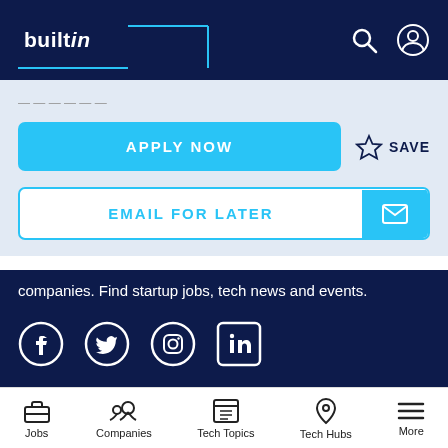builtin
APPLY NOW
SAVE
EMAIL FOR LATER
companies. Find startup jobs, tech news and events.
[Figure (illustration): Social media icons: Facebook, Twitter, Instagram, LinkedIn]
About
Our Story
Jobs | Companies | Tech Topics | Tech Hubs | More